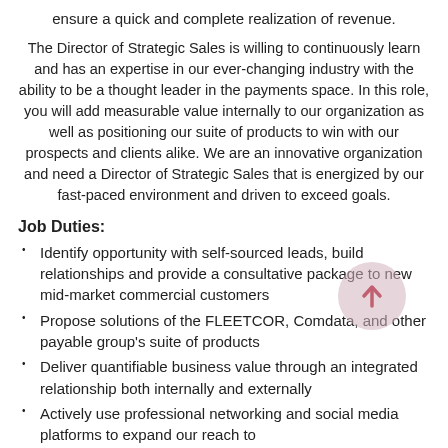ensure a quick and complete realization of revenue.
The Director of Strategic Sales is willing to continuously learn and has an expertise in our ever-changing industry with the ability to be a thought leader in the payments space. In this role, you will add measurable value internally to our organization as well as positioning our suite of products to win with our prospects and clients alike. We are an innovative organization and need a Director of Strategic Sales that is energized by our fast-paced environment and driven to exceed goals.
Job Duties:
Identify opportunity with self-sourced leads, build relationships and provide a consultative package to new mid-market commercial customers
Propose solutions of the FLEETCOR, Comdata, and other payable group's suite of products
Deliver quantifiable business value through an integrated relationship both internally and externally
Actively use professional networking and social media platforms to expand our reach to